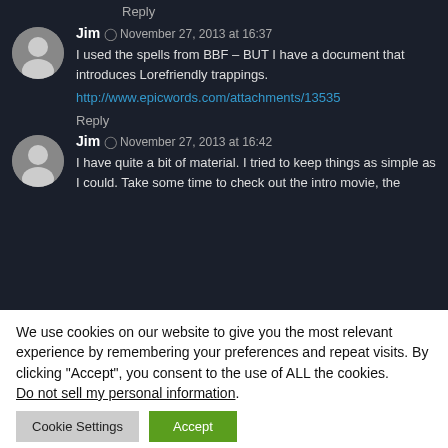Reply
Jim  November 27, 2013 at 16:37
I used the spells from BBF – BUT I have a document that introduces Lorefriendly trappings.
http://www.epicwords.com/attachments/13535
Reply
Jim  November 27, 2013 at 16:42
I have quite a bit of material. I tried to keep things as simple as I could. Take some time to check out the intro movie, the
We use cookies on our website to give you the most relevant experience by remembering your preferences and repeat visits. By clicking "Accept", you consent to the use of ALL the cookies.
Do not sell my personal information.
Cookie Settings
Accept